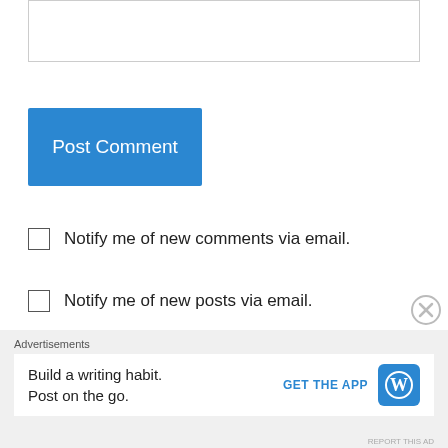[Figure (screenshot): Text input area (textarea) for comment form]
Post Comment
Notify me of new comments via email.
Notify me of new posts via email.
Risa on March 17, 2014 at 9:27 am
Dev, both look delicious and simple. Not a fan if Bucatini tgo' . What long pasta would u suggest as a sub – spaghetti?
Advertisements
Build a writing habit. Post on the go. GET THE APP